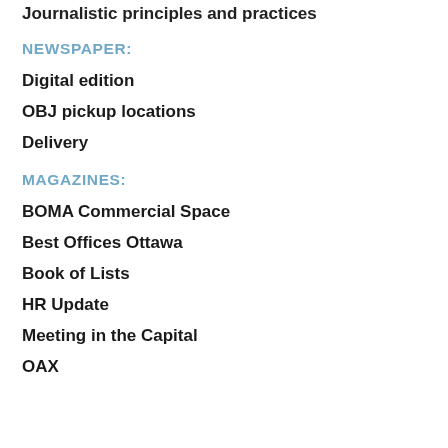Journalistic principles and practices
NEWSPAPER:
Digital edition
OBJ pickup locations
Delivery
MAGAZINES:
BOMA Commercial Space
Best Offices Ottawa
Book of Lists
HR Update
Meeting in the Capital
OAX